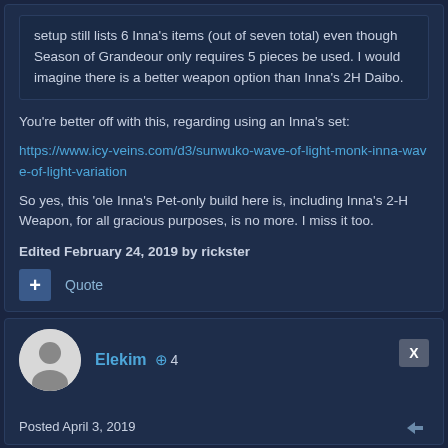setup still lists 6 Inna's items (out of seven total) even though Season of Grandeour only requires 5 pieces be used. I would imagine there is a better weapon option than Inna's 2H Daibo.
You're better off with this, regarding using an Inna's set:
https://www.icy-veins.com/d3/sunwuko-wave-of-light-monk-inna-wave-of-light-variation
So yes, this 'ole Inna's Pet-only build here is, including Inna's 2-H Weapon, for all gracious purposes, is no more.  I miss it too.
Edited February 24, 2019 by rickster
+ Quote
Elekim  +4
Posted April 3, 2019